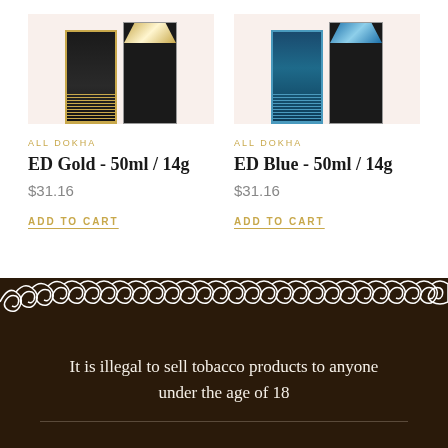[Figure (photo): ED Gold tobacco product - 50ml/14g container, black and gold packaging]
ALL DOKHA
ED Gold - 50ml / 14g
$31.16
ADD TO CART
[Figure (photo): ED Blue tobacco product - 50ml/14g container, black and blue packaging]
ALL DOKHA
ED Blue - 50ml / 14g
$31.16
ADD TO CART
[Figure (illustration): Decorative Arabic/Islamic ornamental border pattern in white on dark brown background]
It is illegal to sell tobacco products to anyone under the age of 18